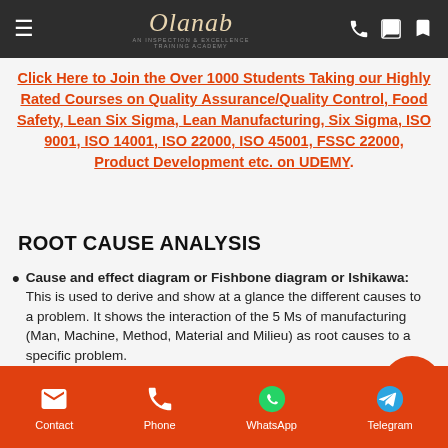Olanab — navigation bar with hamburger menu, logo, phone and cart icons
Click Here to Join the Over 1000 Students Taking our Highly Rated Courses on Quality Assurance/Quality Control, Food Safety, Lean Six Sigma, Lean Manufacturing, Six Sigma, ISO 9001, ISO 14001, ISO 22000, ISO 45001, FSSC 22000, Product Development etc. on UDEMY.
ROOT CAUSE ANALYSIS
Cause and effect diagram or Fishbone diagram or Ishikawa: This is used to derive and show at a glance the different causes to a problem. It shows the interaction of the 5 Ms of manufacturing (Man, Machine, Method, Material and Milieu) as root causes to a specific problem.
CAUSE AND EFFECT DIAGRAM
Contact | Phone | WhatsApp | Telegram